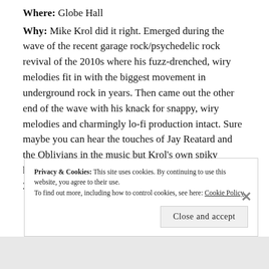Where: Globe Hall
Why: Mike Krol did it right. Emerged during the wave of the recent garage rock/psychedelic rock revival of the 2010s where his fuzz-drenched, wiry melodies fit in with the biggest movement in underground rock in years. Then came out the other end of the wave with his knack for snappy, wiry melodies and charmingly lo-fi production intact. Sure maybe you can hear the touches of Jay Reatard and the Oblivians in the music but Krol's own spiky highlights and tonal gyrations are his own and his 2019 album out on Merge Records, Power Chords,
Privacy & Cookies: This site uses cookies. By continuing to use this website, you agree to their use. To find out more, including how to control cookies, see here: Cookie Policy
Close and accept